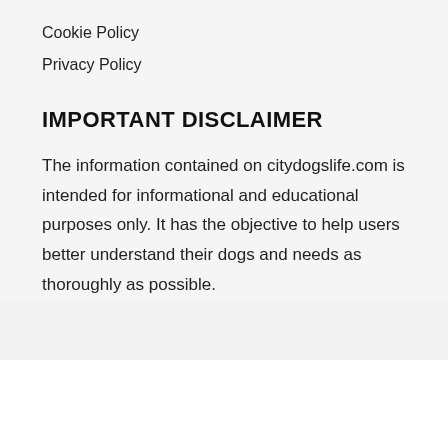Cookie Policy
Privacy Policy
IMPORTANT DISCLAIMER
The information contained on citydogslife.com is intended for informational and educational purposes only. It has the objective to help users better understand their dogs and needs as thoroughly as possible.